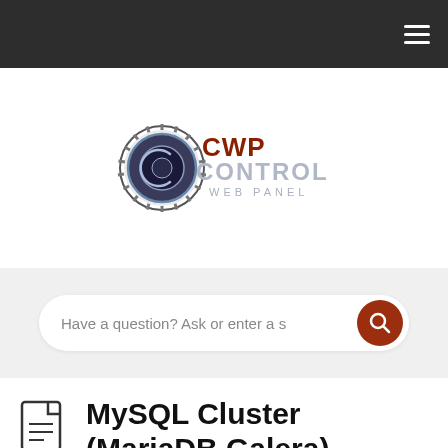CWP Control Web Panel navigation bar
[Figure (logo): CWP Control Web Panel logo — circular gear/ring emblem with 'CWP CONTROL' in stylized metallic red and silver text, 'WEB PANEL' beneath in smaller letters]
Have a question? Ask or enter a s
MySQL Cluster (MariaDB Galera)